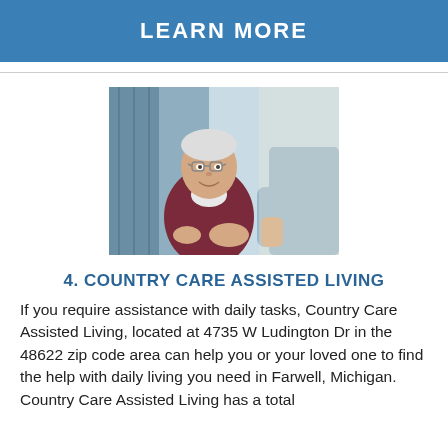LEARN MORE
[Figure (photo): Elderly man with glasses looking up and smiling, holding hands with a caregiver in a blue shirt, indoor setting]
4. COUNTRY CARE ASSISTED LIVING
If you require assistance with daily tasks, Country Care Assisted Living, located at 4735 W Ludington Dr in the 48622 zip code area can help you or your loved one to find the help with daily living you need in Farwell, Michigan. Country Care Assisted Living has a total